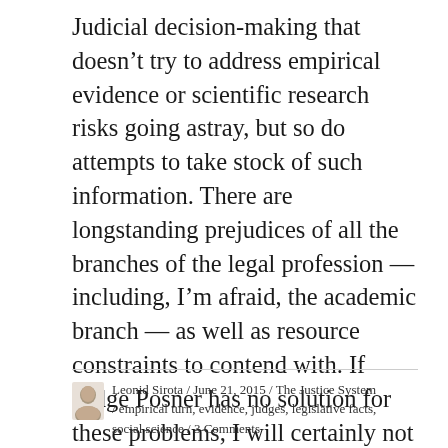Judicial decision-making that doesn't try to address empirical evidence or scientific research risks going astray, but so do attempts to take stock of such information. There are longstanding prejudices of all the branches of the legal profession — including, I'm afraid, the academic branch — as well as resource constraints to contend with. If Judge Posner has no solution for these problems, I will certainly not pretend to have one either. But perhaps if more of us start thinking about them, we will be able to come up with something.
Leonid Sirota / June 21, 2015 / The Justice System / empirical turn, evidence, judges, legislative facts, social science / 3 Comments